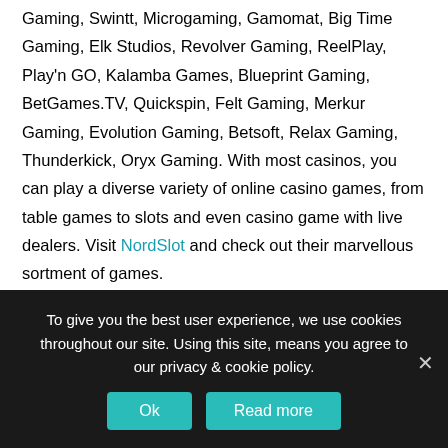Gaming, Swintt, Microgaming, Gamomat, Big Time Gaming, Elk Studios, Revolver Gaming, ReelPlay, Play'n GO, Kalamba Games, Blueprint Gaming, BetGames.TV, Quickspin, Felt Gaming, Merkur Gaming, Evolution Gaming, Betsoft, Relax Gaming, Thunderkick, Oryx Gaming. With most casinos, you can play a diverse variety of online casino games, from table games to slots and even casino game with live dealers. Visit NordSlot and check out their marvellous sortment of games.
Slots at NordSlot
Slots are without a doubt the most popular online casino game. It provides a lot of fun and entertainment. Since slots are so popular, it is no surprise they come in many variations. From different
To give you the best user experience, we use cookies throughout our site. Using this site, means you agree to our privacy & cookie policy.